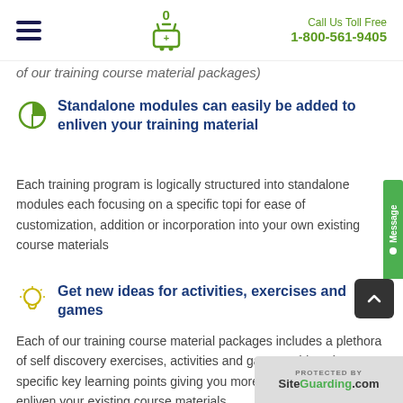Call Us Toll Free 1-800-561-9405
of our training course material packages)
Standalone modules can easily be added to enliven your training material
Each training program is logically structured into standalone modules each focusing on a specific topic for ease of customization, addition or incorporation into your own existing course materials
Get new ideas for activities, exercises and games
Each of our training course material packages includes a plethora of self discovery exercises, activities and games addressing specific key learning points giving you more ideas for interaction to enliven your existing course materials.